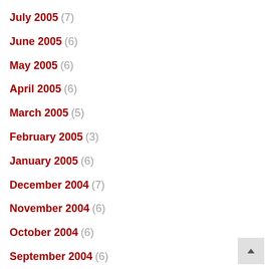July 2005 (7)
June 2005 (6)
May 2005 (6)
April 2005 (6)
March 2005 (5)
February 2005 (3)
January 2005 (6)
December 2004 (7)
November 2004 (6)
October 2004 (6)
September 2004 (6)
August 2004 (4)
July 2004 (9)
June 2004 (6)